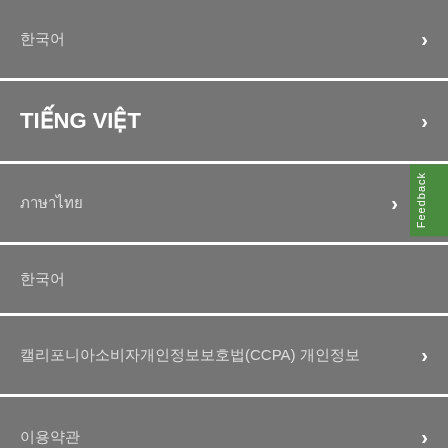한국어
TIẾNG VIỆT
ภาษาไทย
한국어
캘리포니아소비자개인정보보호법(CCPA) 개인정보
이용약관
© 2022 Southern California Edison